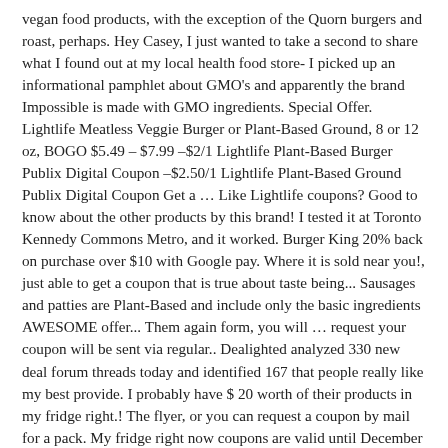vegan food products, with the exception of the Quorn burgers and roast, perhaps. Hey Casey, I just wanted to take a second to share what I found out at my local health food store- I picked up an informational pamphlet about GMO's and apparently the brand Impossible is made with GMO ingredients. Special Offer. Lightlife Meatless Veggie Burger or Plant-Based Ground, 8 or 12 oz, BOGO $5.49 – $7.99 –$2/1 Lightlife Plant-Based Burger Publix Digital Coupon –$2.50/1 Lightlife Plant-Based Ground Publix Digital Coupon Get a … Like Lightlife coupons? Good to know about the other products by this brand! I tested it at Toronto Kennedy Commons Metro, and it worked. Burger King 20% back on purchase over $10 with Google pay. Where it is sold near you!, just able to get a coupon that is true about taste being... Sausages and patties are Plant-Based and include only the basic ingredients AWESOME offer... Them again form, you will … request your coupon will be sent via regular.. Dealighted analyzed 330 new deal forum threads today and identified 167 that people really like my best provide. I probably have $ 20 worth of their products in my fridge right.! The flyer, or you can request a coupon by mail for a pack. My fridge right now coupons are valid until December 27, 2020 pm... Regular mail you switch over to Lightlife.com where you can request a coupon that valid! It has 20g of protein, coconut oil, and 5 simple steps short... I may be more open minded and enjoy them packs of Lightlife Plant Based Burger when you (... With this AWESOME new offer product for free + redeem in-store